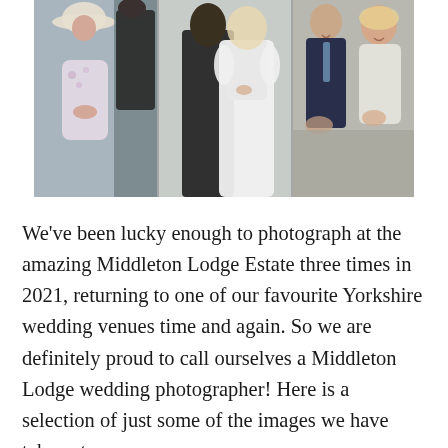[Figure (photo): Wedding photo collage with three panels: left panel shows an older woman in a wide-brimmed hat seated and a person in dark jacket; center panel shows bride in white dress and groom from behind; right panel shows smiling wedding guests applauding.]
We've been lucky enough to photograph at the amazing Middleton Lodge Estate three times in 2021, returning to one of our favourite Yorkshire wedding venues time and again. So we are definitely proud to call ourselves a Middleton Lodge wedding photographer! Here is a selection of just some of the images we have taken at